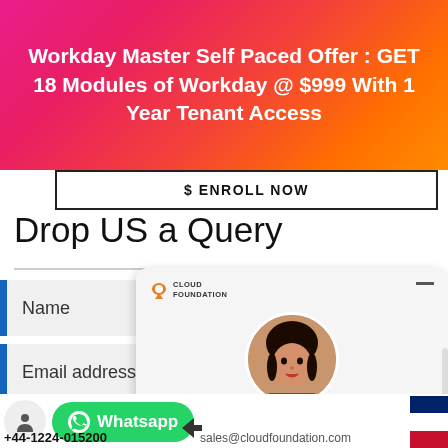Workday Master Self Paced Offer : GET 18 Modules of Workday @ $999 With 1 Year Tenant Access
$ ENROLL NOW
Drop US a Query
Name
Email address*
Country Code
[Figure (screenshot): Cloud Foundation chat widget showing logo, avatar of a woman, 'We're Online!' text, 'How may I help you today?' subtitle, and a blue 'Chat now' button]
Whatsapp
+44-1224-015200  sales@cloudfoundation.com